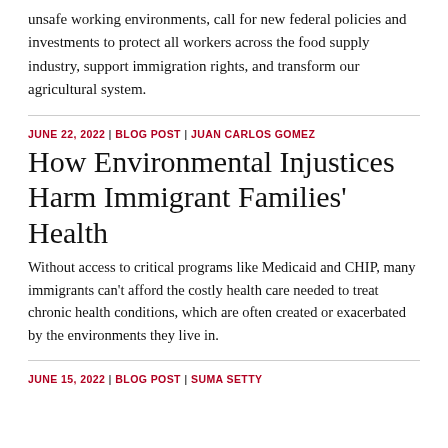unsafe working environments, call for new federal policies and investments to protect all workers across the food supply industry, support immigration rights, and transform our agricultural system.
JUNE 22, 2022 | BLOG POST | JUAN CARLOS GOMEZ
How Environmental Injustices Harm Immigrant Families' Health
Without access to critical programs like Medicaid and CHIP, many immigrants can't afford the costly health care needed to treat chronic health conditions, which are often created or exacerbated by the environments they live in.
JUNE 15, 2022 | BLOG POST | SUMA SETTY